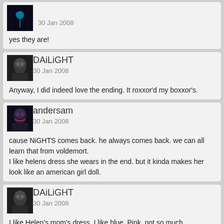30 Jan 2008
yes they are!
DAiLiGHT
30 Jan 2008
Anyway, I did indeed love the ending. It roxxor'd my boxxor's.
andersam
30 Jan 2008
cause NiGHTS comes back. he always comes back. we can all learn that from voldemort.
I like helens dress she wears in the end. but it kinda makes her look like an american girl doll.
DAiLiGHT
30 Jan 2008
I like Helen's mom's dress. I like blue. Pink, not so much.
Blue Fantasy
30 Jan 2008
Blue Fantasy's